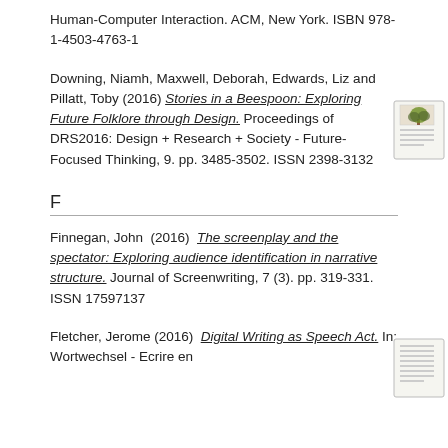Human-Computer Interaction. ACM, New York. ISBN 978-1-4503-4763-1
Downing, Niamh, Maxwell, Deborah, Edwards, Liz and Pillatt, Toby (2016) Stories in a Beespoon: Exploring Future Folklore through Design. Proceedings of DRS2016: Design + Research + Society - Future-Focused Thinking, 9. pp. 3485-3502. ISSN 2398-3132
[Figure (illustration): Small thumbnail image of a document with a tree illustration]
F
Finnegan, John (2016) The screenplay and the spectator: Exploring audience identification in narrative structure. Journal of Screenwriting, 7 (3). pp. 319-331. ISSN 17597137
Fletcher, Jerome (2016) Digital Writing as Speech Act. In: Wortwechsel - Ecrire en
[Figure (illustration): Small thumbnail image of a document page]